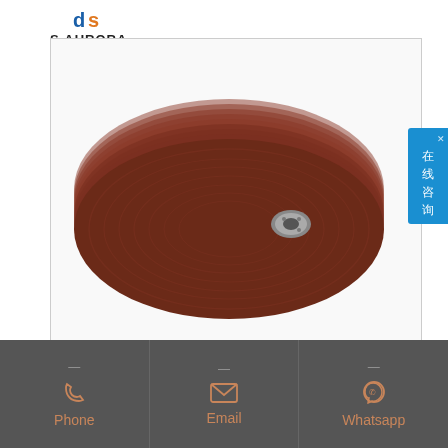[Figure (logo): S.AURORA brand logo with stylized 'ds' icon in blue and orange above company name]
[Figure (photo): Stack of brown resin-bonded grinding discs (flap discs/depressed center grinding wheels) arranged in an overlapping fan/stack, with metal center hub visible, on white background]
4 1 2 inch grinders | 4-1/2" (115mm) Small Angle Grinder - DWE402
[Figure (infographic): Dark grey footer bar with three columns: Phone (telephone icon), Email (envelope icon), Whatsapp (whatsapp icon), each with a dash above and label below in brownish-orange color]